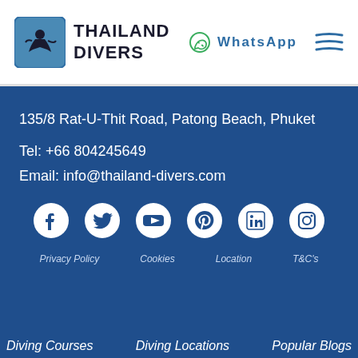Thailand Divers | WhatsApp
135/8 Rat-U-Thit Road, Patong Beach, Phuket
Tel: +66 804245649
Email: info@thailand-divers.com
[Figure (other): Social media icons row: Facebook, Twitter, YouTube, Pinterest, LinkedIn, Instagram]
Privacy Policy    Cookies    Location    T&C's
Diving Courses    Diving Locations    Popular Blogs